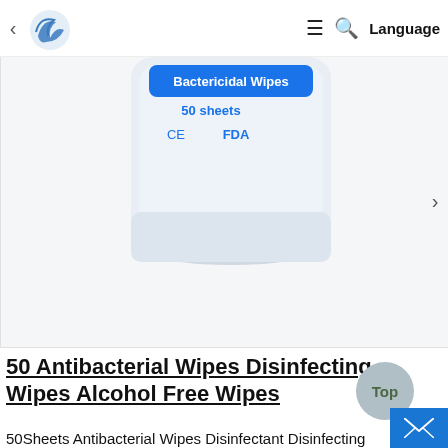Logo | hamburger menu | search | Language
[Figure (photo): Product photo of a white packet of Bactericidal Wipes, 50 sheets, with CE and FDA logos, shown against white/light grey background. Navigation arrows on left and right sides.]
50 Antibacterial Wipes Disinfecting Wipes Alcohol Free Wipes
50Sheets Antibacterial Wipes Disinfectant Disinfecting